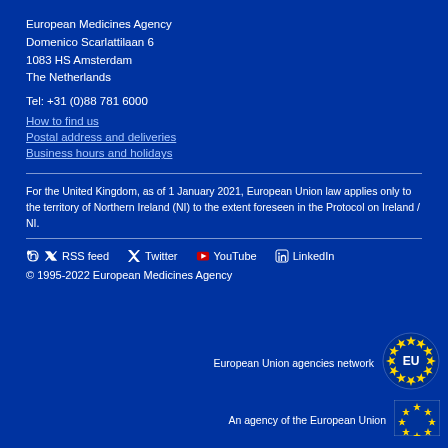European Medicines Agency
Domenico Scarlattilaan 6
1083 HS Amsterdam
The Netherlands
Tel: +31 (0)88 781 6000
How to find us
Postal address and deliveries
Business hours and holidays
For the United Kingdom, as of 1 January 2021, European Union law applies only to the territory of Northern Ireland (NI) to the extent foreseen in the Protocol on Ireland / NI.
RSS feed  Twitter  YouTube  LinkedIn
© 1995-2022 European Medicines Agency
European Union agencies network
[Figure (logo): EU agencies network logo with stars circle]
An agency of the European Union
[Figure (logo): EU flag logo]